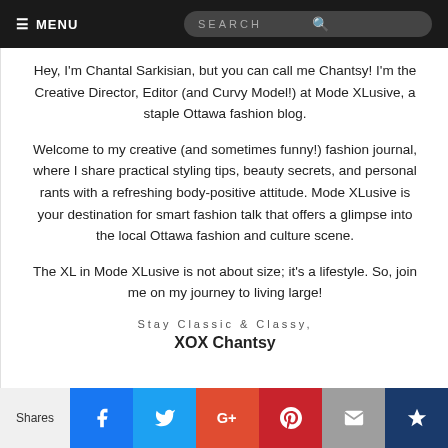≡ MENU | SEARCH
Hey, I'm Chantal Sarkisian, but you can call me Chantsy! I'm the Creative Director, Editor (and Curvy Model!) at Mode XLusive, a staple Ottawa fashion blog.
Welcome to my creative (and sometimes funny!) fashion journal, where I share practical styling tips, beauty secrets, and personal rants with a refreshing body-positive attitude. Mode XLusive is your destination for smart fashion talk that offers a glimpse into the local Ottawa fashion and culture scene.
The XL in Mode XLusive is not about size; it's a lifestyle. So, join me on my journey to living large!
Stay Classic & Classy,
XOX Chantsy
Shares | Facebook | Twitter | Google+ | Pinterest | Email | Crown